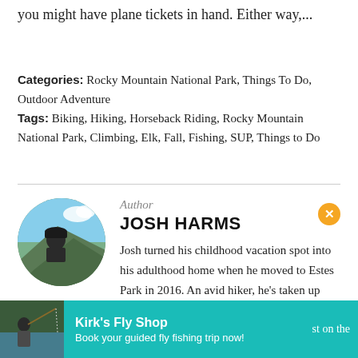you might have plane tickets in hand. Either way,...
Categories: Rocky Mountain National Park, Things To Do, Outdoor Adventure
Tags: Biking, Hiking, Horseback Riding, Rocky Mountain National Park, Climbing, Elk, Fall, Fishing, SUP, Things to Do
[Figure (photo): Circular author photo of Josh Harms outdoors, wearing a cap, with a mountainous landscape background]
Author
JOSH HARMS
Josh turned his childhood vacation spot into his adulthood home when he moved to Estes Park in 2016. An avid hiker, he's taken up learning rock climbing and hopes to bring mountain biking and backcountry
[Figure (photo): Advertisement banner for Kirk's Fly Shop: Book your guided fly fishing trip now! Shows a person fly fishing.]